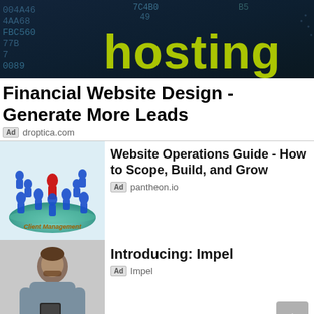[Figure (photo): Dark tech banner with 'hosting' text in yellow-green metallic letters and hexadecimal code characters in blue on dark background]
Financial Website Design - Generate More Leads
Ad  droptica.com
[Figure (illustration): 3D illustration of blue and red human figures standing on a teal platform labeled 'Client Management']
Website Operations Guide - How to Scope, Build, and Grow
Ad  pantheon.io
[Figure (photo): Young man in grey shirt looking at smartphone]
Introducing: Impel
Ad  Impel
[Figure (photo): Desk with papers, charts and credit cards - Mobomo ad thumbnail]
Mobomo - Drupal Migration Experts